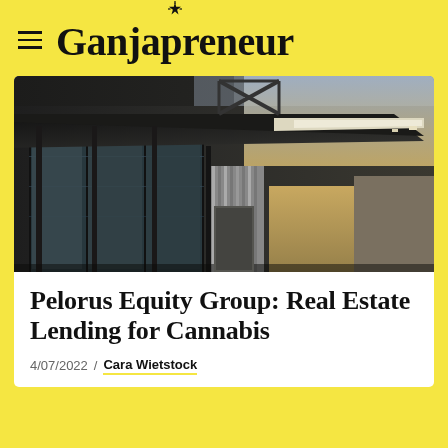Ganjapreneur
[Figure (photo): Exterior of a modern industrial/commercial building with glass panels, corrugated metal, and a large overhanging canopy, photographed at dusk with warm sky tones]
Pelorus Equity Group: Real Estate Lending for Cannabis
4/07/2022 / Cara Wietstock